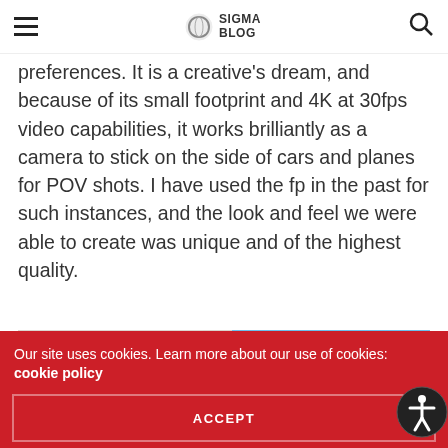SIGMA BLOG
preferences. It is a creative's dream, and because of its small footprint and 4K at 30fps video capabilities, it works brilliantly as a camera to stick on the side of cars and planes for POV shots. I have used the fp in the past for such instances, and the look and feel we were able to create was unique and of the highest quality.
[Figure (photo): White classical/Art Deco style building facade with decorative frieze/Greek key pattern band, dark window, arched openings at bottom, set against a clear blue sky.]
Our site uses cookies. Learn more about our use of cookies: cookie policy
ACCEPT